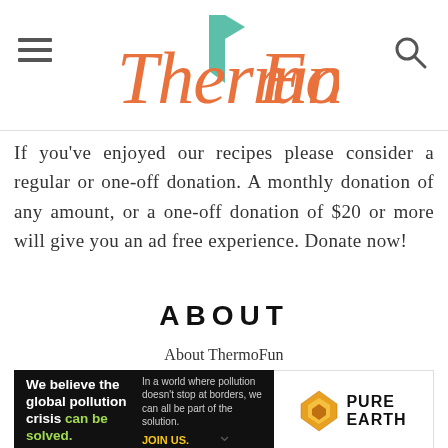[Figure (logo): ThermoFun logo with orange italic script text and teal/green flag accent]
If you've enjoyed our recipes please consider a regular or one-off donation. A monthly donation of any amount, or a one-off donation of $20 or more will give you an ad free experience. Donate now!
ABOUT
About ThermoFun
[Figure (infographic): Pure Earth advertisement banner: black left section reads 'We believe the global pollution crisis can be solved.' with green text for 'can be solved.' Right text reads 'In a world where pollution doesn't stop at borders, we can all be part of the solution. JOIN US.' in yellow. White right section shows Pure Earth logo with diamond shape.]